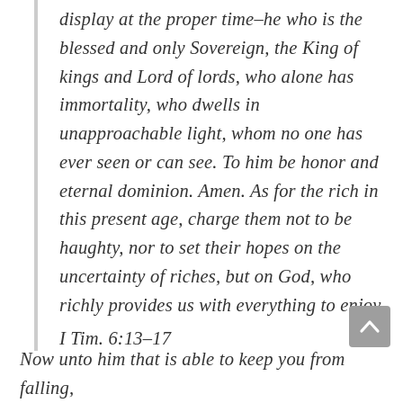display at the proper time–he who is the blessed and only Sovereign, the King of kings and Lord of lords, who alone has immortality, who dwells in unapproachable light, whom no one has ever seen or can see. To him be honor and eternal dominion. Amen. As for the rich in this present age, charge them not to be haughty, nor to set their hopes on the uncertainty of riches, but on God, who richly provides us with everything to enjoy.
I Tim. 6:13–17
Now unto him that is able to keep you from falling,